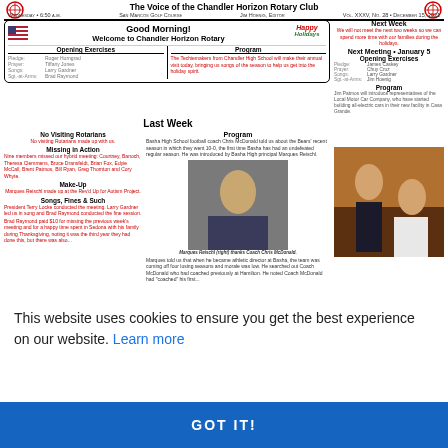The Voice of the Chandler Horizon Rotary Club
Wednesday • 6:50 a.m.  San Marcos Golf Course  Jim Hoenig, Editor  Vol. XXXV, No. 28 • December 15, 2021
Good Morning!
Welcome to Chandler Horizon Rotary
Opening Exercises
Pledge: Roger Horngrad  Prayer: Tiffany Jones  Songs: Larry Gardner  Sgt.-at-Arms: Brad Raymond
Program: The Techiemakers from Chandler High School will make their annual visit today, bringing us songs of the season to help us get into the holiday spirit.
Next Week
We will not meet the next two weeks so we can spend more time with our families during the holidays.
Next Meeting • January 5
Opening Exercises
Pledge: James Caskey  Prayer: Chuy Cruz  Songs: Larry Gardner  Sgt.-at-Arms: Jim Hoenig
Program
Jim Patmos will introduce representatives of the Local Motor Car Company, who have started building all-electric cars in their new facility in Casa Grande.
Last Week
No Visiting Rotarians
No visiting Rotarians made up with us.
Missing in Action
Nine members missed our hybrid meeting: Courtney, Banoch, Theresa Clemmens, Bruce Dransfeldt, Brian Fox, Edyie McCall, Brent Patmos, Bill Ryan, Greg Thornton and Cory Whyte.
Make-Up
Marques Reischl made up at the Rev'd Up for Autism Project.
Songs, Fines & Such
President Terry Locke conducted the meeting. Larry Gardner led us in song and Brad Raymond conducted the fine session.
Brad Raymond paid $10 for missing the previous week's meeting and for a happy time spent in Sedona with his family during Thanksgiving, noting it was the third year they had done this, but...
Program
Basha High School football coach Chris McDonald told us about the Bears' recent season in which they went 10-0, the first time Basha has had an undefeated regular season. He was introduced by Basha High principal Marques Reischl.
Marques told us that when he became athletic director at Basha, the team was coming off four losing seasons and morale was low. He searched out Coach McDonald who had coached previously at Hamilton. He noted Coach McDonald had 'coached' his first...
Marques Reischl (right) thanks Coach Chris McDonald.
[Figure (photo): Photo of woman and man at holiday party]
This website uses cookies to ensure you get the best experience on our website.
Learn more
GOT IT!